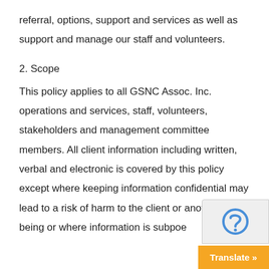referral, options, support and services as well as support and manage our staff and volunteers.
2. Scope
This policy applies to all GSNC Assoc. Inc. operations and services, staff, volunteers, stakeholders and management committee members. All client information including written, verbal and electronic is covered by this policy except where keeping information confidential may lead to a risk of harm to the client or another hu being or where information is subpoe